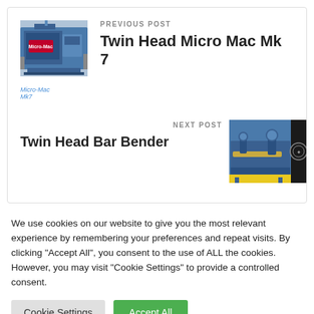PREVIOUS POST
Twin Head Micro Mac Mk 7
[Figure (photo): Photo of Twin Head Micro Mac Mk 7 machine, blue industrial equipment with Micro-Mac Mk7 label]
NEXT POST
Twin Head Bar Bender
[Figure (photo): Photo of Twin Head Bar Bender, blue industrial bar bending machine]
We use cookies on our website to give you the most relevant experience by remembering your preferences and repeat visits. By clicking "Accept All", you consent to the use of ALL the cookies. However, you may visit "Cookie Settings" to provide a controlled consent.
Cookie Settings
Accept All